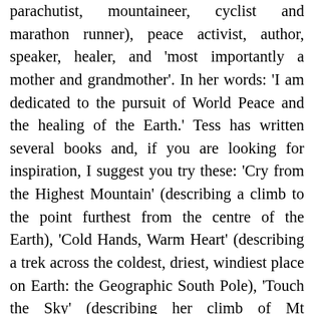parachutist, mountaineer, cyclist and marathon runner), peace activist, author, speaker, healer, and 'most importantly a mother and grandmother'. In her words: 'I am dedicated to the pursuit of World Peace and the healing of the Earth.' Tess has written several books and, if you are looking for inspiration, I suggest you try these: 'Cry from the Highest Mountain' (describing a climb to the point furthest from the centre of the Earth), 'Cold Hands, Warm Heart' (describing a trek across the coldest, driest, windiest place on Earth: the Geographic South Pole), 'Touch the Sky' (describing her climb of Mt Kilimanjaro, in Africa's heartland, pulling a car tyre which included peace messages from every nation on Earth and embodying their desire for everyone to pull together to promote peace) and her latest book 'Soft Courage'. Her video 'Climb For Tibet' won't bore you either! among other things, built six schools in Tibet and supported a Maasai community tree-